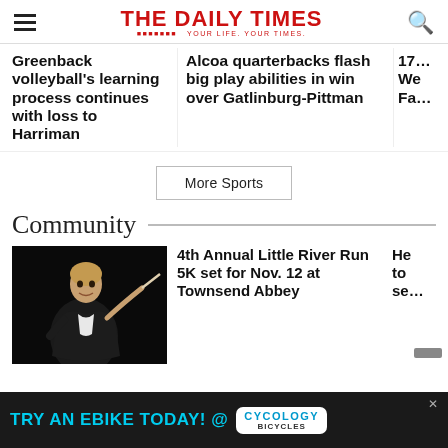THE DAILY TIMES - YOUR LIFE. YOUR TIMES.
Greenback volleyball's learning process continues with loss to Harriman
Alcoa quarterbacks flash big play abilities in win over Gatlinburg-Pittman
17... We Fa...
More Sports
Community
[Figure (photo): A conductor in dark jacket holding a baton, performing against a dark background]
4th Annual Little River Run 5K set for Nov. 12 at Townsend Abbey
He to se...
[Figure (other): Advertisement banner: TRY AN EBIKE TODAY! @ CYCOLOGY BICYCLES]